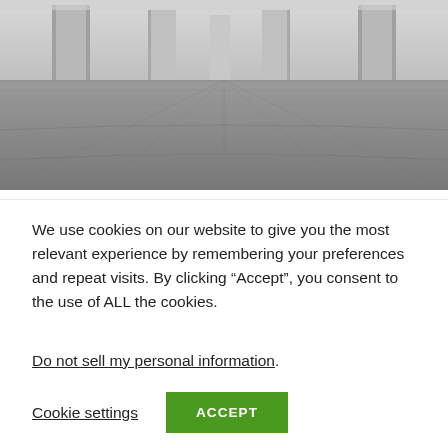[Figure (photo): Black and white photo of a large concrete interior space with tiled floor and tall concrete pillars, viewed in perspective.]
Sand And Cement Render
What do they all have in common? They all use a coat of render to make them look beautiful! But
We use cookies on our website to give you the most relevant experience by remembering your preferences and repeat visits. By clicking “Accept”, you consent to the use of ALL the cookies.
Do not sell my personal information.
Cookie settings   ACCEPT